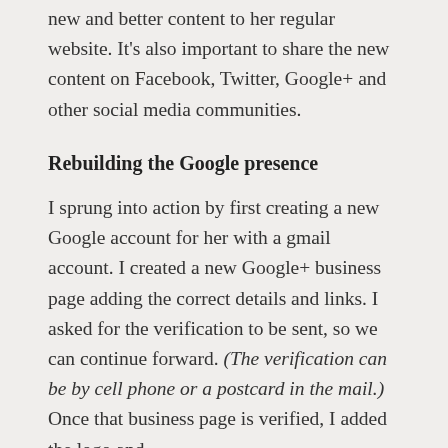new and better content to her regular website. It's also important to share the new content on Facebook, Twitter, Google+ and other social media communities.
Rebuilding the Google presence
I sprung into action by first creating a new Google account for her with a gmail account. I created a new Google+ business page adding the correct details and links. I asked for the verification to be sent, so we can continue forward. (The verification can be by cell phone or a postcard in the mail.) Once that business page is verified, I added the logo and